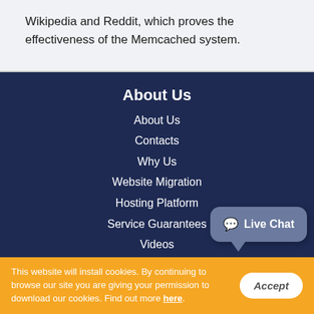Wikipedia and Reddit, which proves the effectiveness of the Memcached system.
About Us
About Us
Contacts
Why Us
Website Migration
Hosting Platform
Service Guarantees
Videos
Terms of Service
Control Panel
Live Chat
This website will install cookies. By continuing to browse our site you are giving your permission to download our cookies. Find out more here.